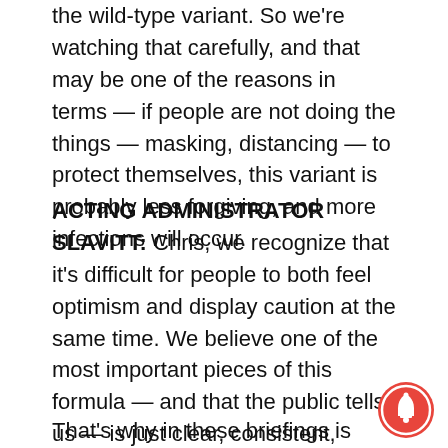the wild-type variant. So we're watching that carefully, and that may be one of the reasons in terms — if people are not doing the things — masking, distancing — to protect themselves, this variant is probably less forgiving, and more infections will occur.
ACTING ADMINISTRATOR SLAVITT: Chris, we recognize that it's difficult for people to both feel optimism and display caution at the same time. We believe one of the most important pieces of this formula — and that the public tells us — is just clear, consistent, honest, direct, straightforward information.
That's why in these briefings is you'll see Dr. Fauci
[Figure (other): Notification bell icon — circular red button with white bell symbol]